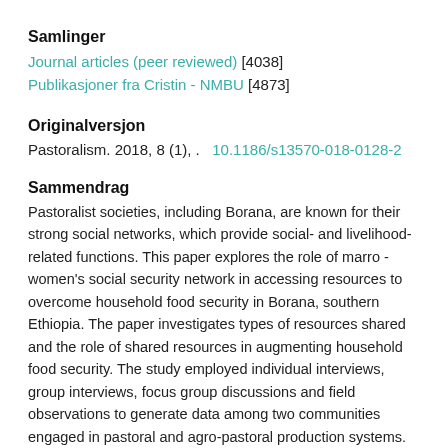Samlinger
Journal articles (peer reviewed) [4038]
Publikasjoner fra Cristin - NMBU [4873]
Originalversjon
Pastoralism. 2018, 8 (1), .  10.1186/s13570-018-0128-2
Sammendrag
Pastoralist societies, including Borana, are known for their strong social networks, which provide social- and livelihood-related functions. This paper explores the role of marro - women's social security network in accessing resources to overcome household food security in Borana, southern Ethiopia. The paper investigates types of resources shared and the role of shared resources in augmenting household food security. The study employed individual interviews, group interviews, focus group discussions and field observations to generate data among two communities engaged in pastoral and agro-pastoral production systems. Results show marro is a voluntary social support network between friends, neighbours and families in which all women participate, regardless of livelihood bases, economic status and age differences. The